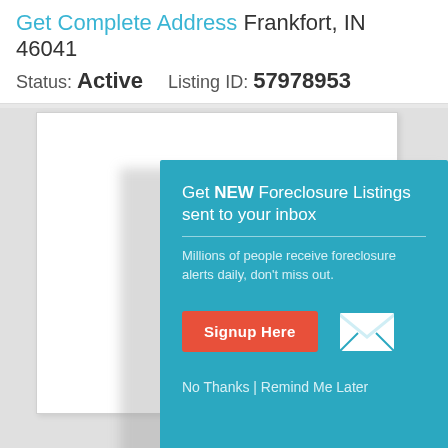Get Complete Address Frankfort, IN 46041
Status: Active    Listing ID: 57978953
[Figure (screenshot): Real estate listing page with a teal modal dialog overlay. The modal contains 'Get NEW Foreclosure Listings sent to your inbox', subtext 'Millions of people receive foreclosure alerts daily, don't miss out.', a red 'Signup Here' button, a white envelope icon, and links 'No Thanks | Remind Me Later'.]